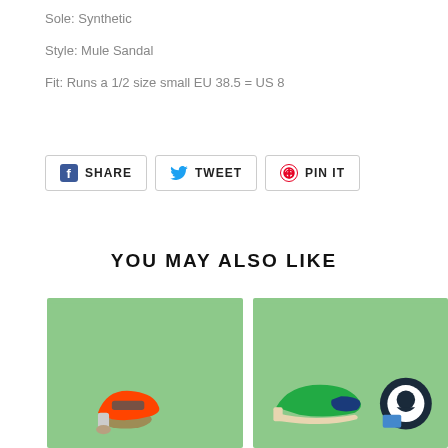Sole: Synthetic
Style: Mule Sandal
Fit: Runs a 1/2 size small EU 38.5 = US 8
[Figure (infographic): Social share buttons: Facebook SHARE, Twitter TWEET, Pinterest PIN IT]
YOU MAY ALSO LIKE
[Figure (photo): Orange mule sandal shoe on green background]
[Figure (photo): Green oxford shoe with dark toe cap on green background, with dark circular chat widget]